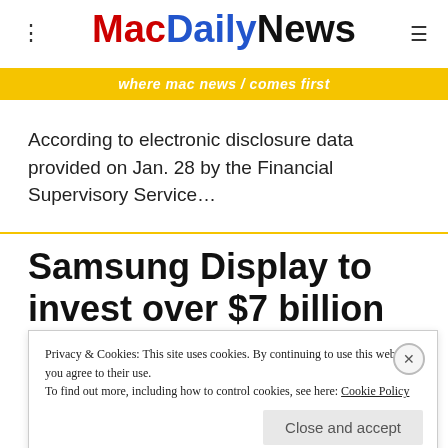MacDailyNews — where mac news comes first
According to electronic disclosure data provided on Jan. 28 by the Financial Supervisory Service…
Samsung Display to invest over $7 billion to supply Flexible OLEDs to Apple for future iPhones
Privacy & Cookies: This site uses cookies. By continuing to use this website, you agree to their use. To find out more, including how to control cookies, see here: Cookie Policy